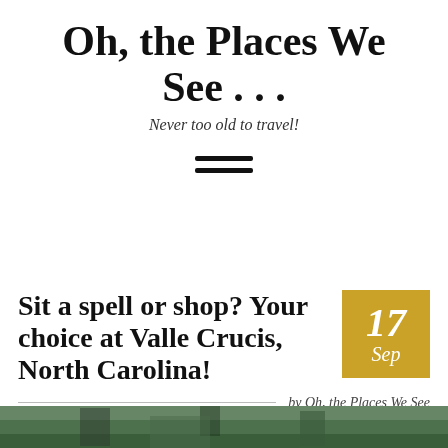Oh, the Places We See . . .
Never too old to travel!
[Figure (other): Hamburger menu icon — three horizontal lines]
Sit a spell or shop? Your choice at Valle Crucis, North Carolina!
17 Sep
by Oh, the Places We See
[Figure (photo): Partial photo visible at bottom of page, outdoor nature/travel scene]